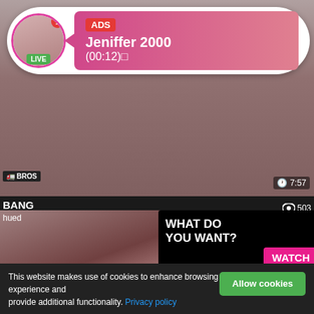[Figure (screenshot): Adult website screenshot showing video thumbnails and overlaid advertisements]
ADS
Jeniffer 2000
(00:12)
WHAT DO YOU WANT?
WATCH
Online
Cumming, ass fucking, squirt or...
• ADS
Flirt4Free
7:57
38:34
503
Live Sexy Models 🔔
She will make the first move
youthfull Melissa
Mau and her
This website makes use of cookies to enhance browsing experience and provide additional functionality. Privacy policy
Allow cookies